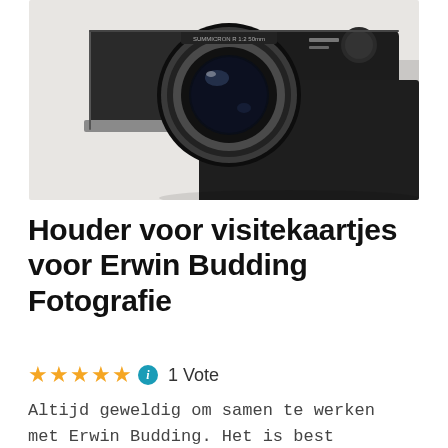[Figure (photo): Close-up photo of a black film camera with a prominent lens, placed on a light gray/white surface, viewed from above at an angle.]
Houder voor visitekaartjes voor Erwin Budding Fotografie
★★★★★ ℹ 1 Vote
Altijd geweldig om samen te werken met Erwin Budding. Het is best moeilijk iemand te vinden met geduld, creativiteit en…